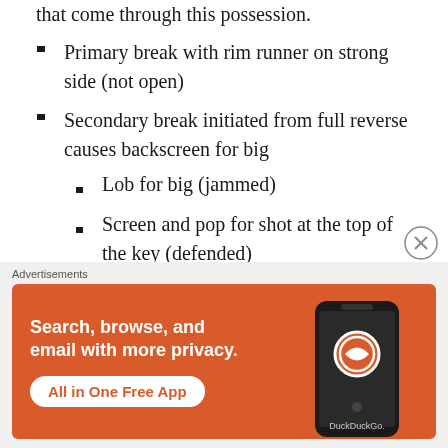that come through this possession.
Primary break with rim runner on strong side (not open)
Secondary break initiated from full reverse causes backscreen for big
Lob for big (jammed)
Screen and pop for shot at the top of the key (defended)
Block to block screen between bigs for
[Figure (other): DuckDuckGo advertisement banner: orange background with text 'Search, browse, and email with more privacy. All in One Free App' and DuckDuckGo logo on a phone mockup.]